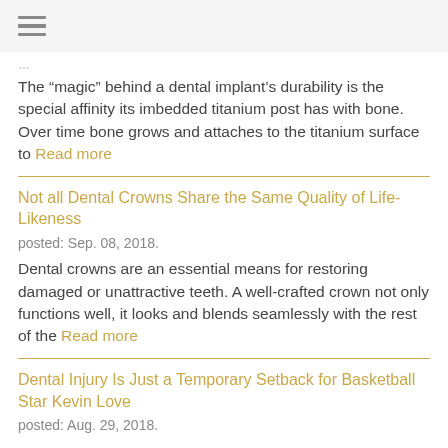The “magic” behind a dental implant’s durability is the special affinity its imbedded titanium post has with bone. Over time bone grows and attaches to the titanium surface to Read more
Not all Dental Crowns Share the Same Quality of Life-Likeness
posted: Sep. 08, 2018.
Dental crowns are an essential means for restoring damaged or unattractive teeth. A well-crafted crown not only functions well, it looks and blends seamlessly with the rest of the Read more
Dental Injury Is Just a Temporary Setback for Basketball Star Kevin Love
posted: Aug. 29, 2018.